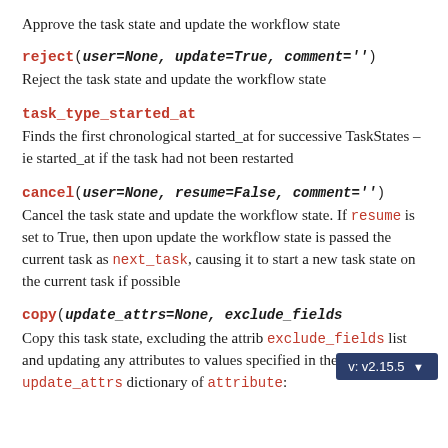Approve the task state and update the workflow state
reject(user=None, update=True, comment='')
Reject the task state and update the workflow state
task_type_started_at
Finds the first chronological started_at for successive TaskStates – ie started_at if the task had not been restarted
cancel(user=None, resume=False, comment='')
Cancel the task state and update the workflow state. If resume is set to True, then upon update the workflow state is passed the current task as next_task, causing it to start a new task state on the current task if possible
copy(update_attrs=None, exclude_fields
Copy this task state, excluding the attrib exclude_fields list and updating any attributes to values specified in the update_attrs dictionary of attribute: